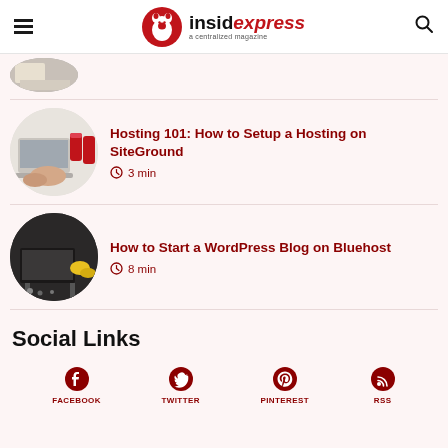insidexpress — a centralized magazine
[Figure (photo): Partial circular thumbnail of an article image at top]
Hosting 101: How to Setup a Hosting on SiteGround
3 min
[Figure (photo): Circular thumbnail showing hands on laptop with coca cola cans]
How to Start a WordPress Blog on Bluehost
8 min
[Figure (photo): Circular thumbnail showing dark workspace with yellow shoes]
Social Links
FACEBOOK  TWITTER  PINTEREST  RSS